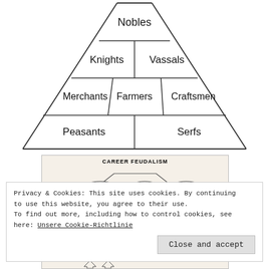[Figure (other): Feudal society pyramid diagram with levels: top - Nobles; second - Knights and Vassals; third - Merchants, Farmers, Craftsmen; bottom - Peasants and Serfs]
[Figure (other): Career Feudalism diagram showing a pyramid with Shogun, CEO, Royalty in ovals at top level, partially visible]
Privacy & Cookies: This site uses cookies. By continuing to use this website, you agree to their use.
To find out more, including how to control cookies, see here: Unsere Cookie-Richtlinie
[Figure (other): Bottom portion of another feudalism diagram showing Samurai and Knight labels with arrows]